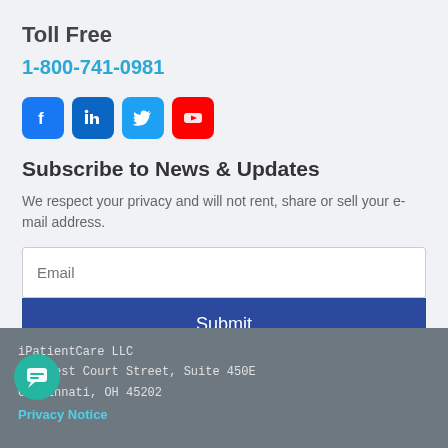Toll Free
1-800-741-0981
[Figure (illustration): Social media icons: Facebook, LinkedIn, Twitter, YouTube]
Subscribe to News & Updates
We respect your privacy and will not rent, share or sell your e-mail address.
[Figure (screenshot): Email input field with placeholder 'Email' and Submit button]
iPatientCare LLC
250 West Court Street, Suite 450E
Cincinnati, OH 45202
Privacy Notice